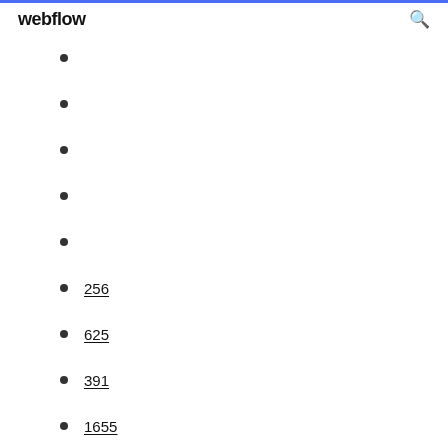webflow
256
625
391
1655
1123
1112
480
962